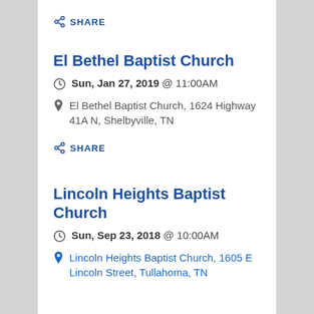SHARE
El Bethel Baptist Church
Sun, Jan 27, 2019 @ 11:00AM
El Bethel Baptist Church, 1624 Highway 41A N, Shelbyville, TN
SHARE
Lincoln Heights Baptist Church
Sun, Sep 23, 2018 @ 10:00AM
Lincoln Heights Baptist Church, 1605 E Lincoln Street, Tullahoma, TN